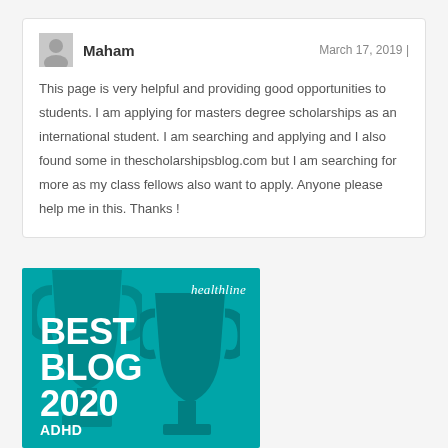Maham   March 17, 2019 | This page is very helpful and providing good opportunities to students. I am applying for masters degree scholarships as an international student. I am searching and applying and I also found some in thescholarshipsblog.com but I am searching for more as my class fellows also want to apply. Anyone please help me in this. Thanks !
[Figure (illustration): Healthline Best Blog 2020 ADHD award badge with teal background and trophy silhouette]